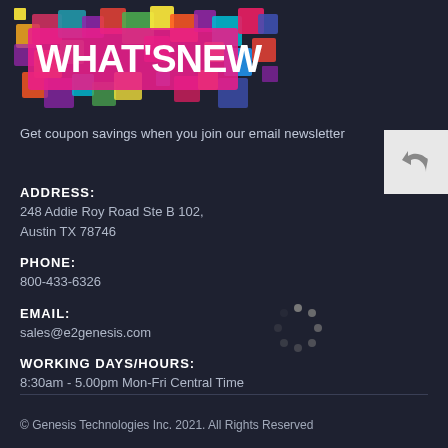[Figure (illustration): Colorful 'WHAT'S NEW' banner with multicolored overlapping squares/rectangles in orange, pink, purple, green, blue, yellow, red and bold white text 'WHAT'S NEW' overlaid]
Get coupon savings when you join our email newsletter
ADDRESS:
248 Addie Roy Road Ste B 102,
Austin TX 78746
PHONE:
800-433-6326
EMAIL:
sales@e2genesis.com
WORKING DAYS/HOURS:
8:30am - 5.00pm Mon-Fri Central Time
© Genesis Technologies Inc. 2021. All Rights Reserved